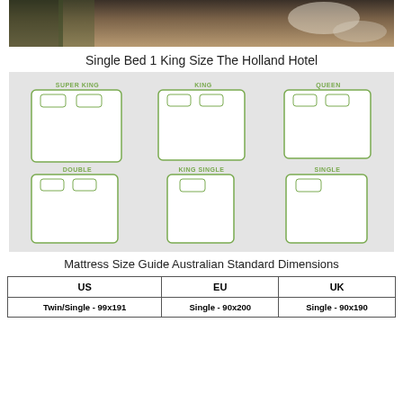[Figure (photo): Partial photo of a hotel room with bed and floor visible at top of page]
Single Bed 1 King Size The Holland Hotel
[Figure (infographic): Mattress size comparison diagram showing 6 bed types: Super King, King, Queen (top row), Double, King Single, Single (bottom row), illustrated as top-down outlines on grey background]
Mattress Size Guide Australian Standard Dimensions
| US | EU | UK |
| --- | --- | --- |
| Twin/Single - 99x191 | Single - 90x200 | Single - 90x190 |